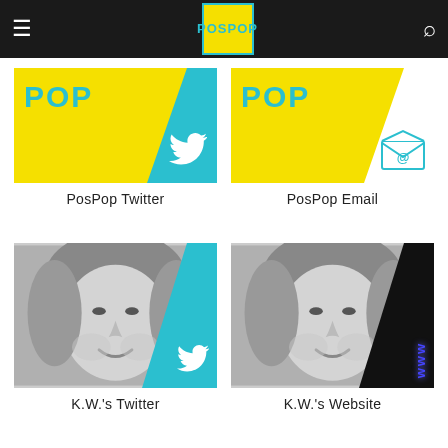PosPop navigation bar with hamburger menu, PosPop logo, and search icon
[Figure (screenshot): PosPop Twitter banner image with yellow background, POP text in teal, diagonal teal stripe with Twitter bird icon]
PosPop Twitter
[Figure (screenshot): PosPop Email banner image with yellow background, POP text in teal, white diagonal stripe with email/envelope icon]
PosPop Email
[Figure (photo): Black and white photo of a woman smiling, with teal diagonal stripe and Twitter bird icon overlay]
K.W.'s Twitter
[Figure (photo): Black and white photo of a woman smiling, with dark diagonal stripe and www text in blue neon]
K.W.'s Website